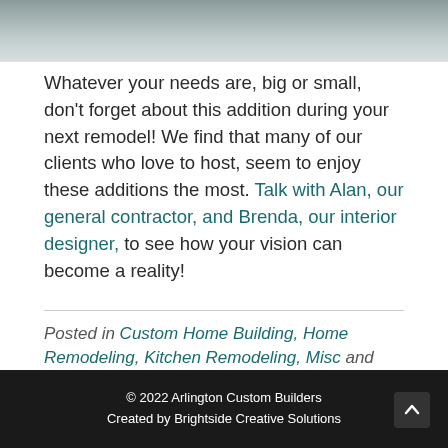[Figure (photo): Top strip showing a partial view of a tiled or marble surface, gray-toned photo.]
Whatever your needs are, big or small, don't forget about this addition during your next remodel! We find that many of our clients who love to host, seem to enjoy these additions the most. Talk with Alan, our general contractor, and Brenda, our interior designer, to see how your vision can become a reality!
Posted in Custom Home Building, Home Remodeling, Kitchen Remodeling, Misc and tagged bardesign, Home Remodeling, homebar, Remodel, renovation, Scottsdale, Scottsdale Remodel
© 2022 Arlington Custom Builders
Created by Brightside Creative Solutions